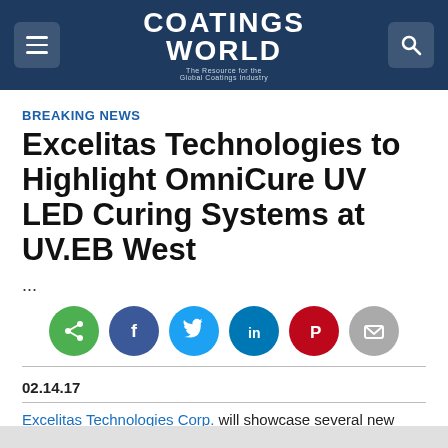COATINGS WORLD — The Resource for the Global Coatings Industry
BREAKING NEWS
Excelitas Technologies to Highlight OmniCure UV LED Curing Systems at UV.EB West
...
[Figure (infographic): Row of social sharing buttons: share (green), Facebook (dark blue), Twitter (blue), LinkedIn (dark blue), Pinterest (red), email (gray)]
02.14.17
Excelitas Technologies Corp. will showcase several new